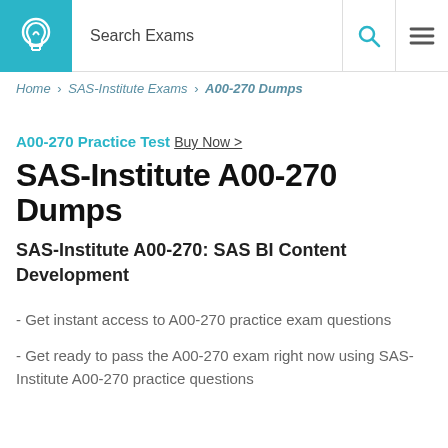Search Exams
Home > SAS-Institute Exams > A00-270 Dumps
A00-270 Practice Test Buy Now >
SAS-Institute A00-270 Dumps
SAS-Institute A00-270: SAS BI Content Development
- Get instant access to A00-270 practice exam questions
- Get ready to pass the A00-270 exam right now using SAS-Institute A00-270 practice questions